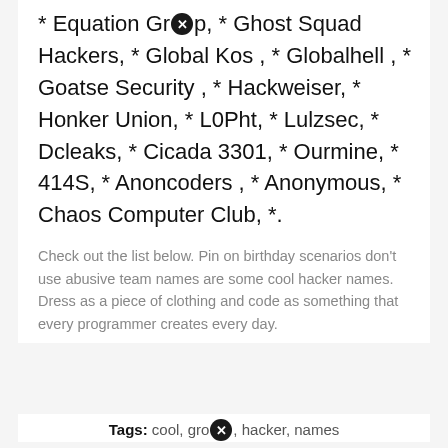* Equation Group, * Ghost Squad Hackers, * Global Kos , * Globalhell , * Goatse Security , * Hackweiser, * Honker Union, * L0Pht, * Lulzsec, * Dcleaks, * Cicada 3301, * Ourmine, * 414S, * Anoncoders , * Anonymous, * Chaos Computer Club, *.
Check out the list below. Pin on birthday scenarios don't use abusive team names are some cool hacker names. Dress as a piece of clothing and code as something that every programmer creates every day.
Tags: cool, group, hacker, names